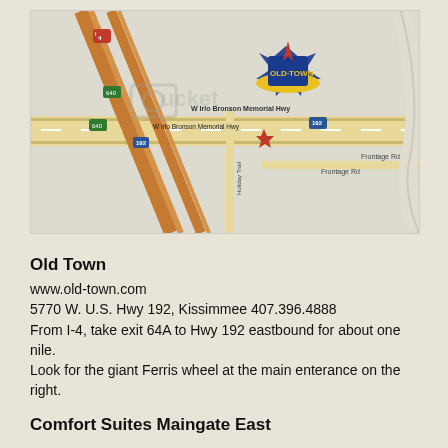[Figure (map): Street map showing Old Town location near W Irlo Bronson Memorial Hwy (Hwy 192) and I-4 interchange in Kissimmee, Florida. Old Town logo visible on map with a red star marker indicating the location. Roads include Frontage Rd and Holiday Trail.]
Old Town
www.old-town.com
5770 W. U.S. Hwy 192, Kissimmee 407.396.4888
From I-4, take exit 64A to Hwy 192 eastbound for about one nile.
Look for the giant Ferris wheel at the main enterance on the right.
Comfort Suites Maingate East